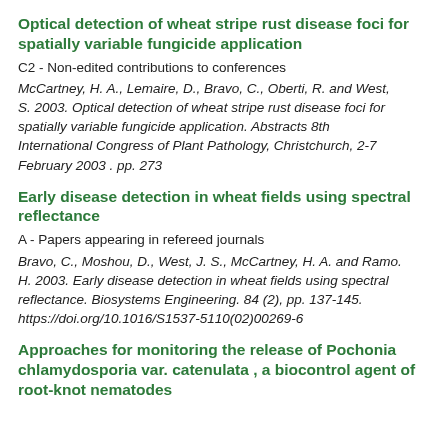Optical detection of wheat stripe rust disease foci for spatially variable fungicide application
C2 - Non-edited contributions to conferences
McCartney, H. A., Lemaire, D., Bravo, C., Oberti, R. and West, S. 2003. Optical detection of wheat stripe rust disease foci for spatially variable fungicide application. Abstracts 8th International Congress of Plant Pathology, Christchurch, 2-7 February 2003 . pp. 273
Early disease detection in wheat fields using spectral reflectance
A - Papers appearing in refereed journals
Bravo, C., Moshou, D., West, J. S., McCartney, H. A. and Ramo. H. 2003. Early disease detection in wheat fields using spectral reflectance. Biosystems Engineering. 84 (2), pp. 137-145. https://doi.org/10.1016/S1537-5110(02)00269-6
Approaches for monitoring the release of Pochonia chlamydosporia var. catenulata , a biocontrol agent of root-knot nematodes